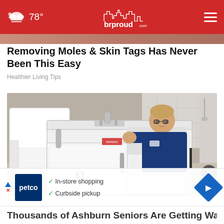brproud.com — 78°
Removing Moles & Skin Tags Has Never Been This Easy
Healthier Living Tips
[Figure (photo): Man sitting in a walk-in bathtub in a showroom, displaying a white accessible bathtub with a door entry and handicap symbol. Multiple tubs visible in background.]
[Figure (infographic): Petco advertisement overlay showing: In-store shopping, Curbside pickup. Petco logo in dark blue, navigation arrow icon in blue diamond shape.]
Thousands of Ashburn Seniors Are Getting Walk-